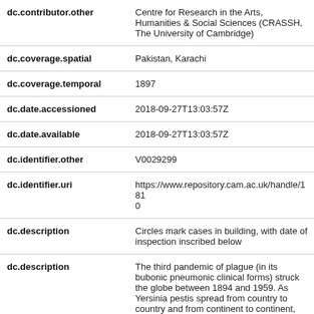| Field | Value |
| --- | --- |
| dc.contributor.other | Centre for Research in the Arts, Humanities & Social Sciences (CRASSH, The University of Cambridge) |
| dc.coverage.spatial | Pakistan, Karachi |
| dc.coverage.temporal | 1897 |
| dc.date.accessioned | 2018-09-27T13:03:57Z |
| dc.date.available | 2018-09-27T13:03:57Z |
| dc.identifier.other | V0029299 |
| dc.identifier.uri | https://www.repository.cam.ac.uk/handle/1810 |
| dc.description | Circles mark cases in building, with date of inspection inscribed below |
| dc.description | The third pandemic of plague (in its bubonic pneumonic clinical forms) struck the globe between 1894 and 1959. As Yersinia pestis spread from country to country and from continent to continent, left behind it not only a trail of death and devastation but also a vast visual archive. It was the first plague would reach and establish itself in all... |